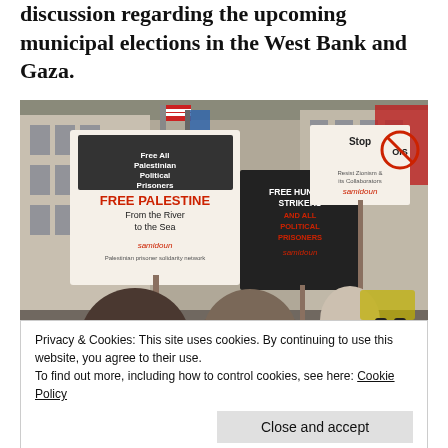discussion regarding the upcoming municipal elections in the West Bank and Gaza.
[Figure (photo): Street protest photo showing demonstrators holding Samidoun signs including 'FREE PALESTINE From the River to the Sea', 'Free All Palestinian Political Prisoners', 'Free Hunger Strikers', and 'Stop OIS' signs, marching on a city street with buildings in background.]
Privacy & Cookies: This site uses cookies. By continuing to use this website, you agree to their use.
To find out more, including how to control cookies, see here: Cookie Policy
Close and accept
the Samida rally in support of the burning noon Str...